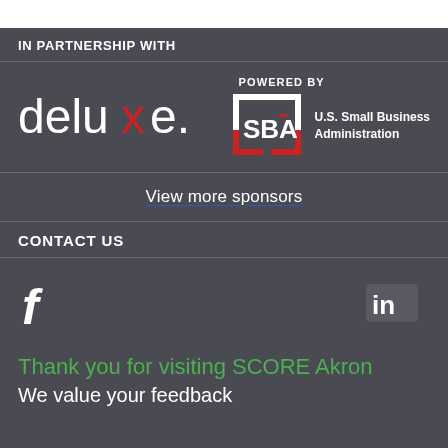[Figure (logo): Deluxe logo in white with red 'x']
[Figure (logo): SBA U.S. Small Business Administration logo with 'POWERED BY' text above]
View more sponsors
IN PARTNERSHIP WITH
CONTACT US
[Figure (logo): Facebook 'f' icon]
[Figure (logo): LinkedIn 'in' icon]
Thank you for visiting SCORE Akron
We value your feedback